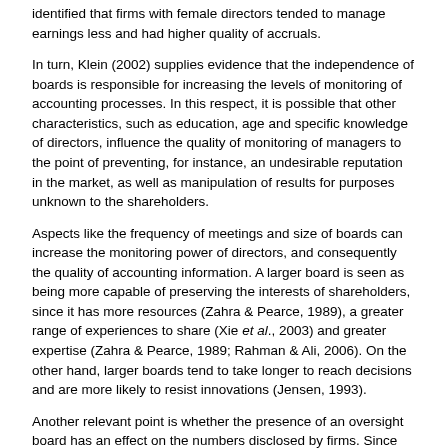identified that firms with female directors tended to manage earnings less and had higher quality of accruals.
In turn, Klein (2002) supplies evidence that the independence of boards is responsible for increasing the levels of monitoring of accounting processes. In this respect, it is possible that other characteristics, such as education, age and specific knowledge of directors, influence the quality of monitoring of managers to the point of preventing, for instance, an undesirable reputation in the market, as well as manipulation of results for purposes unknown to the shareholders.
Aspects like the frequency of meetings and size of boards can increase the monitoring power of directors, and consequently the quality of accounting information. A larger board is seen as being more capable of preserving the interests of shareholders, since it has more resources (Zahra & Pearce, 1989), a greater range of experiences to share (Xie et al., 2003) and greater expertise (Zahra & Pearce, 1989; Rahman & Ali, 2006). On the other hand, larger boards tend to take longer to reach decisions and are more likely to resist innovations (Jensen, 1993).
Another relevant point is whether the presence of an oversight board has an effect on the numbers disclosed by firms. Since this is a body inexistent in most other countries in the world, few studies have examined this theme in Brazil, making it an attractive research target.
Complete Chapter List